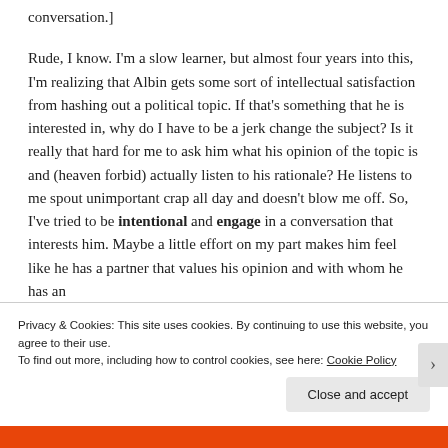conversation.]
Rude, I know. I'm a slow learner, but almost four years into this, I'm realizing that Albin gets some sort of intellectual satisfaction from hashing out a political topic. If that's something that he is interested in, why do I have to be a jerk change the subject? Is it really that hard for me to ask him what his opinion of the topic is and (heaven forbid) actually listen to his rationale? He listens to me spout unimportant crap all day and doesn't blow me off. So, I've tried to be intentional and engage in a conversation that interests him. Maybe a little effort on my part makes him feel like he has a partner that values his opinion and with whom he has an
Privacy & Cookies: This site uses cookies. By continuing to use this website, you agree to their use.
To find out more, including how to control cookies, see here: Cookie Policy
Close and accept